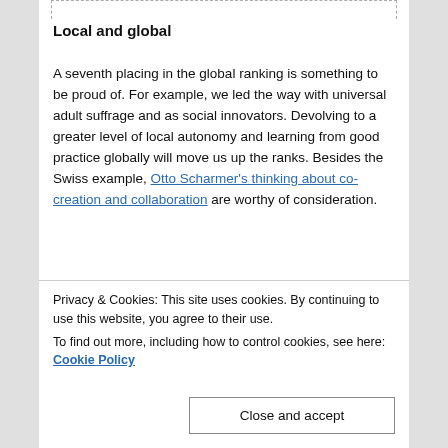Local and global
A seventh placing in the global ranking is something to be proud of. For example, we led the way with universal adult suffrage and as social innovators. Devolving to a greater level of local autonomy and learning from good practice globally will move us up the ranks. Besides the Swiss example, Otto Scharmer's thinking about co-creation and collaboration are worthy of consideration.
Lets be cheerleaders for governance change. And we can also work to inculcate these changes in the
Privacy & Cookies: This site uses cookies. By continuing to use this website, you agree to their use.
To find out more, including how to control cookies, see here: Cookie Policy
Close and accept